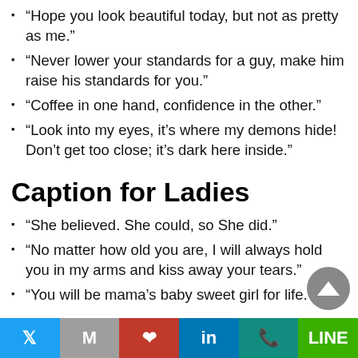“Hope you look beautiful today, but not as pretty as me.”
“Never lower your standards for a guy, make him raise his standards for you.”
“Coffee in one hand, confidence in the other.”
“Look into my eyes, it’s where my demons hide! Don’t get too close; it’s dark here inside.”
Caption for Ladies
“She believed. She could, so She did.”
“No matter how old you are, I will always hold you in my arms and kiss away your tears.”
“You will be mama’s baby sweet girl for life.”